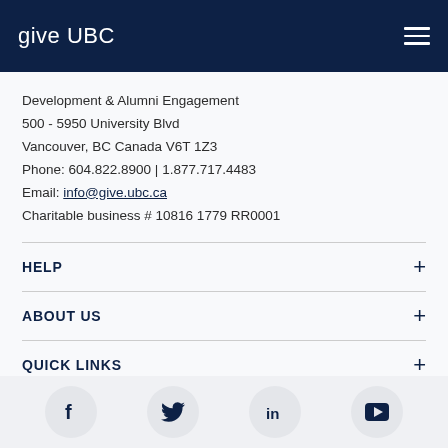give UBC
Development & Alumni Engagement
500 - 5950 University Blvd
Vancouver, BC Canada V6T 1Z3
Phone: 604.822.8900 | 1.877.717.4483
Email: info@give.ubc.ca
Charitable business # 10816 1779 RR0001
HELP
ABOUT US
QUICK LINKS
[Figure (infographic): Social media icons: Facebook, Twitter, LinkedIn, YouTube — each in a circular grey button]